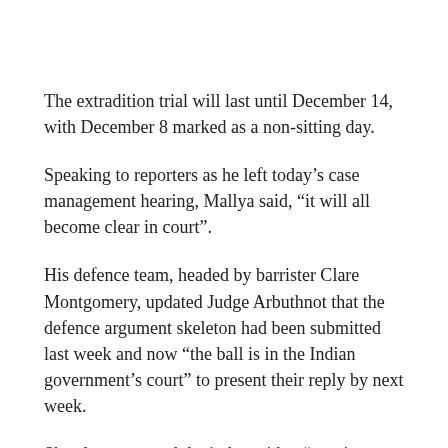The extradition trial will last until December 14, with December 8 marked as a non-sitting day.
Speaking to reporters as he left today’s case management hearing, Mallya said, “it will all become clear in court”.
His defence team, headed by barrister Clare Montgomery, updated Judge Arbuthnot that the defence argument skeleton had been submitted last week and now “the ball is in the Indian government’s court” to present their reply by next week.
She also presented the judge with a “running order” of witnesses to be deposed in the case, adding that the Indian authorities are “content with that order”.